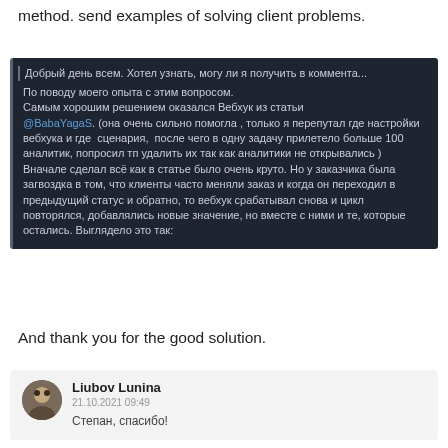method. send examples of solving client problems.
[Figure (screenshot): Dark-themed comment box in Russian. Title line: 'Добрый день всем. Хотел узнать, могу ли я получить в коммента...' Body: discusses experience with Webhoook from article by @BabaYagaS, mentioning configuration issues and cyclic webhook triggers.]
And thank you for the good solution.
[Figure (screenshot): Light-themed comment box. Avatar of Liubov Lunina, date 21.10.2021 09:49, comment text: Степан, спасибо!]